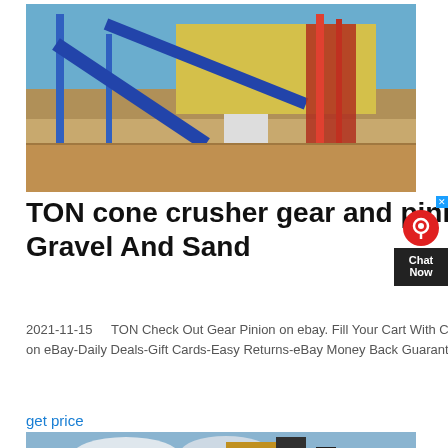[Figure (photo): Industrial crushing/conveyor equipment facility with blue steel structures and conveyor belts at a mining or quarry site, sandy ground, yellow building in background.]
TON cone crusher gear and pinion Gravel And Sand
2021-11-15   TON Check Out Gear Pinion on ebay. Fill Your Cart With Color today! Under $10-Sell on eBay-Daily Deals-Gift Cards-Easy Returns-eBay Money Back Guarantee.algo a
get price
[Figure (photo): Yellow industrial crushing/screening equipment with conveyor belts against a cloudy sky.]